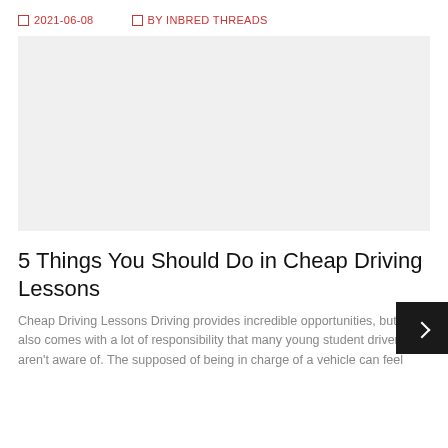2021-06-08   BY INBRED THREADS
[Figure (photo): Large image placeholder area for article header image]
5 Things You Should Do in Cheap Driving Lessons
Cheap Driving Lessons Driving provides incredible opportunities, but it also comes with a lot of responsibility that many young student drivers aren't aware of. The supposed of being in charge of a vehicle can feel